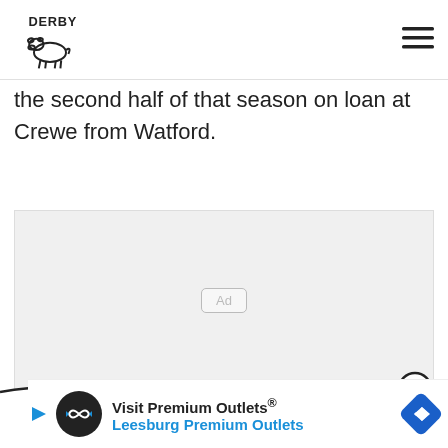DERBY (logo with cow icon) | hamburger menu
the second half of that season on loan at Crewe from Watford.
[Figure (other): Advertisement placeholder box with 'Ad' label centered, and a close (X) button at bottom right]
[Figure (other): Bottom advertisement banner: Visit Premium Outlets® Leesburg Premium Outlets, with circular logo and blue navigation arrow icon]